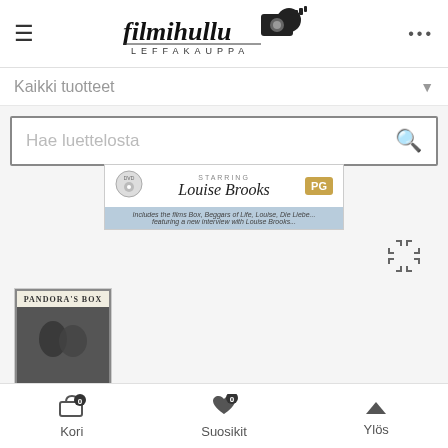[Figure (logo): Filmihullu Leffakauppa logo with film camera icon]
Kaikki tuotteet
Hae luettelosta
[Figure (screenshot): DVD cover banner for Louise Brooks film Pandora's Box with PG rating]
[Figure (photo): Pandoras Box DVD product thumbnail image]
Kori 0   Suosikit 0   Ylös